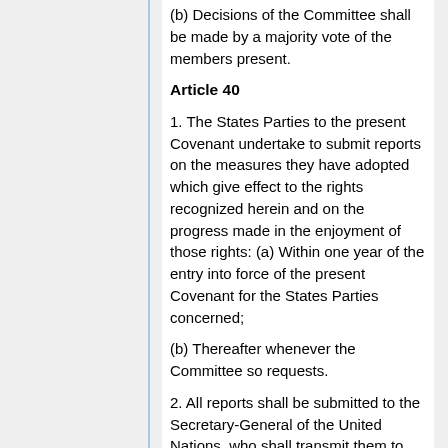(b) Decisions of the Committee shall be made by a majority vote of the members present.
Article 40
1. The States Parties to the present Covenant undertake to submit reports on the measures they have adopted which give effect to the rights recognized herein and on the progress made in the enjoyment of those rights: (a) Within one year of the entry into force of the present Covenant for the States Parties concerned;
(b) Thereafter whenever the Committee so requests.
2. All reports shall be submitted to the Secretary-General of the United Nations, who shall transmit them to the Committee for consideration. Reports